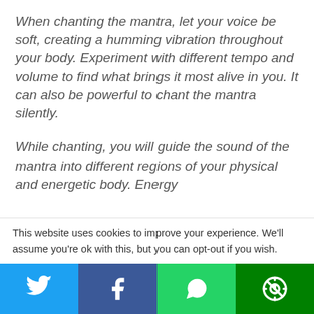When chanting the mantra, let your voice be soft, creating a humming vibration throughout your body. Experiment with different tempo and volume to find what brings it most alive in you. It can also be powerful to chant the mantra silently.
While chanting, you will guide the sound of the mantra into different regions of your physical and energetic body. Energy
This website uses cookies to improve your experience. We'll assume you're ok with this, but you can opt-out if you wish.